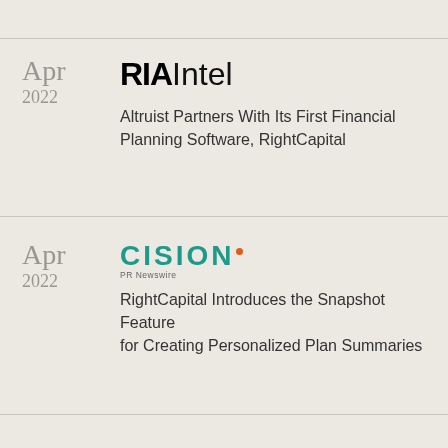Apr
2022
[Figure (logo): RIA Intel logo — bold black RIA followed by light-weight Intel]
Altruist Partners With Its First Financial Planning Software, RightCapital
Apr
2022
[Figure (logo): Cision PR Newswire logo — teal CISION text with orange dot, PR Newswire subtitle]
RightCapital Introduces the Snapshot Feature for Creating Personalized Plan Summaries